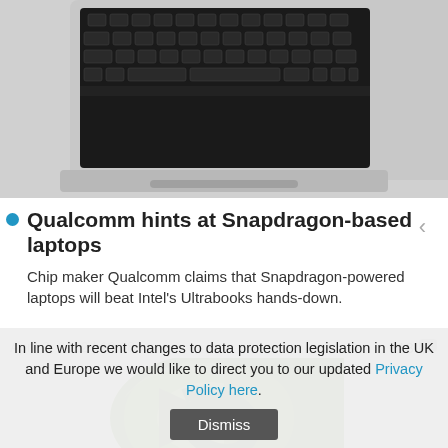[Figure (photo): Close-up photo of a laptop keyboard, silver/aluminum chassis, viewed from above]
Qualcomm hints at Snapdragon-based laptops
Chip maker Qualcomm claims that Snapdragon-powered laptops will beat Intel's Ultrabooks hands-down.
April 3, 2012 | 13:18   13
[Figure (logo): NVIDIA logo - green eye/chevron shape on white/green background, split design]
In line with recent changes to data protection legislation in the UK and Europe we would like to direct you to our updated Privacy Policy here.
Dismiss